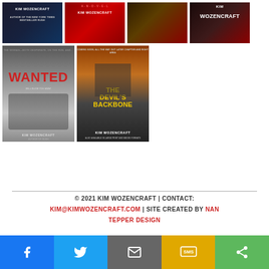[Figure (illustration): Grid of 6 book covers by Kim Wozencraft. Top row: 4 book covers (dark thriller covers). Bottom row: 'Wanted' and 'The Devil's Backbone' book covers.]
© 2021 KIM WOZENCRAFT | CONTACT: KIM@KIMWOZENCRAFT.COM | SITE CREATED BY NAN TEPPER DESIGN
[Figure (infographic): Social share bar with 5 buttons: Facebook (blue), Twitter (light blue), Email (gray), SMS (yellow/gold), Share (green)]